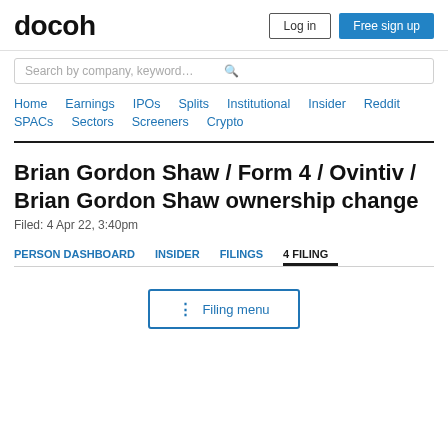docoh | Log in | Free sign up
Search by company, keyword…
Home  Earnings  IPOs  Splits  Institutional  Insider  Reddit  SPACs  Sectors  Screeners  Crypto
Brian Gordon Shaw / Form 4 / Ovintiv / Brian Gordon Shaw ownership change
Filed: 4 Apr 22, 3:40pm
PERSON DASHBOARD  INSIDER  FILINGS  4 FILING
⋮  Filing menu